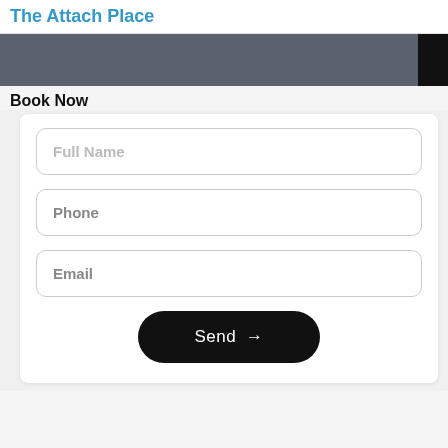The Attach Place
[Figure (other): Dark gray navigation bar with black rectangle on right edge]
Book Now
[Figure (screenshot): Web form with Full Name, Phone, Email fields and a Send button]